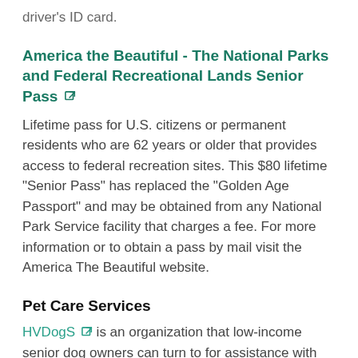driver's ID card.
America the Beautiful - The National Parks and Federal Recreational Lands Senior Pass
Lifetime pass for U.S. citizens or permanent residents who are 62 years or older that provides access to federal recreation sites. This $80 lifetime "Senior Pass" has replaced the "Golden Age Passport" and may be obtained from any National Park Service facility that charges a fee. For more information or to obtain a pass by mail visit the America The Beautiful website.
Pet Care Services
HVDogS is an organization that low-income senior dog owners can turn to for assistance with their pet care needs. Contact Hudson Valley Dog Sanctuary at (917) 975-9864 or